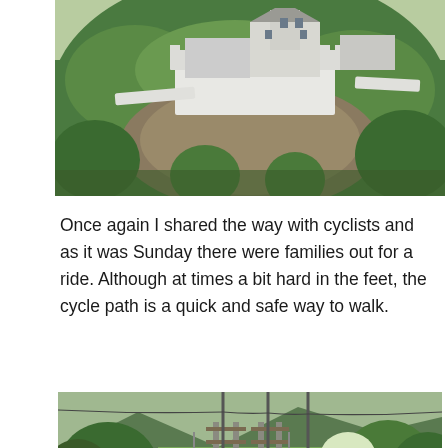[Figure (photo): A hillside photograph showing a white medieval castle or fortress with walls built on a rocky, forested hillside. Trees and vegetation cover the slopes around the structure.]
Once again I shared the way with cyclists and as it was Sunday there were families out for a ride. Although at times a bit hard in the feet, the cycle path is a quick and safe way to walk.
[Figure (photo): A landscape photograph showing a railway line running through a green valley, with electricity pylons and wires alongside the tracks, surrounded by trees and meadows with mountains in the background.]